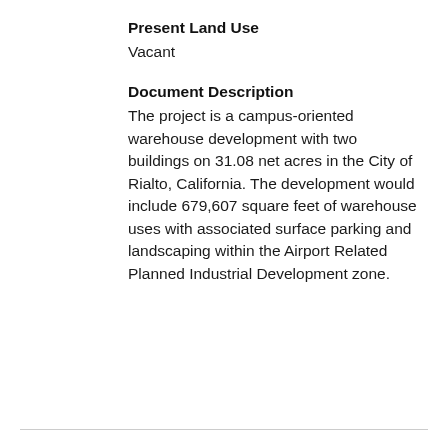Present Land Use
Vacant
Document Description
The project is a campus-oriented warehouse development with two buildings on 31.08 net acres in the City of Rialto, California. The development would include 679,607 square feet of warehouse uses with associated surface parking and landscaping within the Airport Related Planned Industrial Development zone.